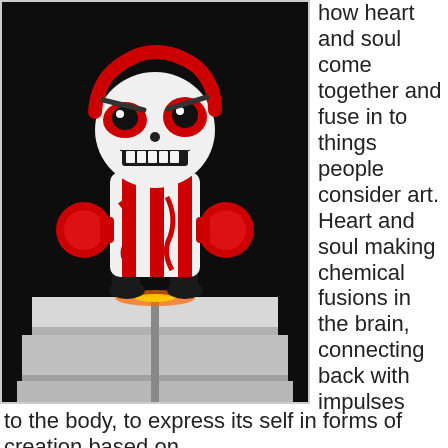[Figure (photo): A stylized red, white, and black robotic/cartoon figure standing on a white rectangular pedestal. The figure has a round head with an angry expression, red and white body with decorative patterns, and red gloved fists. The background is dark/black. There is a glowing light at the base of the figure on the pedestal.]
how heart and soul come together and fuse in to things people consider art. Heart and soul making chemical fusions in the brain, connecting back with impulses to the body, to express its self in forms of creation based on